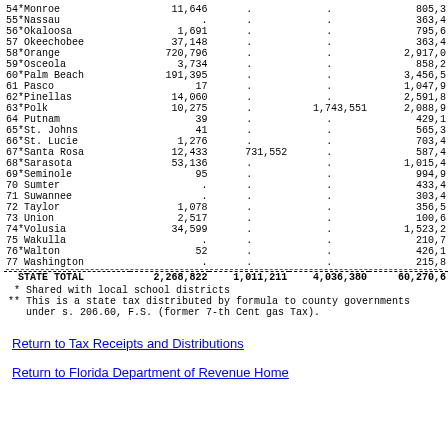| County | Col1 | Col2 | Col3 | Col4 |
| --- | --- | --- | --- | --- |
| 54*Monroe | 11,646 | . | . | 805,3x |
| 55*Nassau | . | . | . | 363,4x |
| 56*Okaloosa | 1,691 | . | . | 795,6x |
| 57 Okeechobee | 37,148 | . | . | 363,4x |
| 58*Orange | 720,796 | . | . | 2,917,0x |
| 59*Osceola | 3,734 | . | . | 858,2x |
| 60*Palm Beach | 191,395 | . | . | 3,456,5x |
| 61 Pasco | 17 | . | . | 1,047,9x |
| 62*Pinellas | 14,060 | . | . | 2,591,8x |
| 63*Polk | 10,275 | . | 1,743,551 | 2,088,9x |
| 64 Putnam | 39 | . | . | 429,1x |
| 65*St. Johns | 41 | . | . | 565,3x |
| 66*St. Lucie | 1,276 | . | . | 703,4x |
| 67*Santa Rosa | 12,433 | 731,552 | . | 587,4x |
| 68*Sarasota | 53,136 | . | . | 1,015,4x |
| 69*Seminole | 95 | . | . | 994,9x |
| 70 Sumter | . | . | . | 433,4x |
| 71 Suwannee | . | . | . | 303,4x |
| 72 Taylor | 1,078 | . | . | 356,5x |
| 73 Union | 2,517 | . | . | 100,6x |
| 74*Volusia | 34,599 | . | . | 1,523,2x |
| 75 Wakulla | . | . | . | 210,7x |
| 76*Walton | 52 | . | . | 426,1x |
| 77 Washington | . | . | . | 215,8x |
| STATE TOTAL |
| --- |
| STATE TOTAL | 2,268,822 | 1,011,211 | 4,036,380 | 60,270,6x |
* Shared with local school districts
** This is a state tax distributed by formula to county governments
   under s. 206.60, F.S. (former 7-th Cent gas Tax).
Return to Tax Receipts and Distributions
Return to Florida Department of Revenue Home